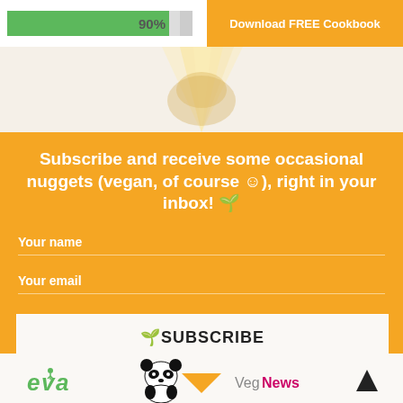90%
Download FREE Cookbook
[Figure (photo): Hero image with light rays on cream background]
Subscribe and receive some occasional nuggets (vegan, of course ☺), right in your inbox! 🌱
Your name
Your email
🌱SUBSCRIBE
[Figure (logo): eva logo in green italic]
[Figure (logo): WWF panda logo with WWF text]
[Figure (logo): VegNews logo]
[Figure (other): Up arrow icon]